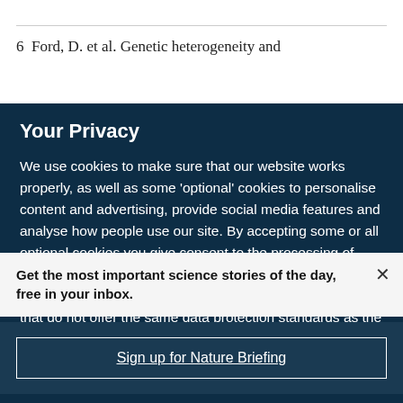6  Ford, D. et al. Genetic heterogeneity and
Your Privacy
We use cookies to make sure that our website works properly, as well as some 'optional' cookies to personalise content and advertising, provide social media features and analyse how people use our site. By accepting some or all optional cookies you give consent to the processing of your personal data, including transfer to third parties, some in countries outside of the European Economic Area that do not offer the same data protection standards as the country where you live. You can decide which optional cookies to accept by clicking on 'Manage Settings', where you can
Get the most important science stories of the day, free in your inbox.
Sign up for Nature Briefing